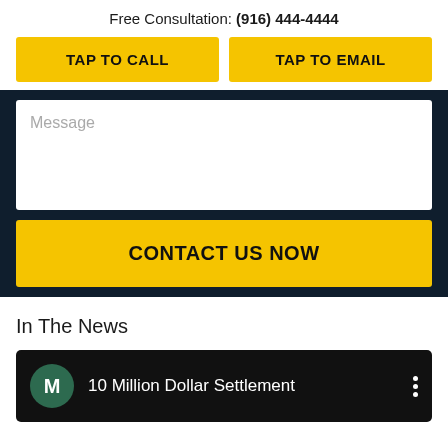Free Consultation: (916) 444-4444
TAP TO CALL
TAP TO EMAIL
Message
CONTACT US NOW
In The News
10 Million Dollar Settlement